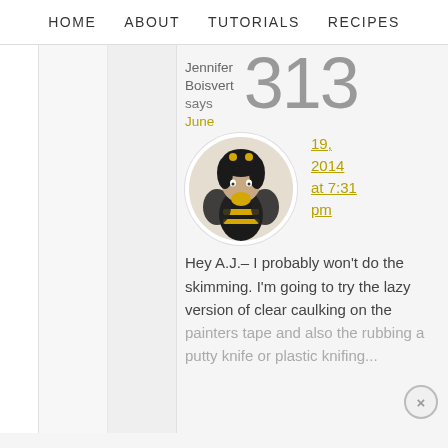HOME   ABOUT   TUTORIALS   RECIPES
Jennifer Boisvert says
313
June
[Figure (photo): Circular avatar photo of a woman in a bee costume with black and yellow striped outfit and black jacket, with a small crown/antenna headpiece]
19, 2014 at 7:31 pm
Hey A.J.– I probably won't do the skimming. I'm going to try the lazy version of clear caulking on the painters tape and also the rubbing a putty knife or plastic knifing...